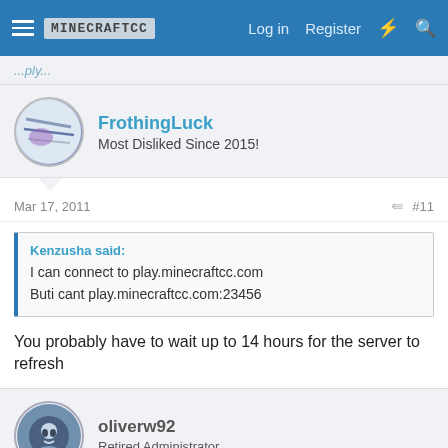MINECRAFTCC — Log in  Register
FrothingLuck
Most Disliked Since 2015!
Mar 17, 2011  #11
Kenzusha said:
I can connect to play.minecraftcc.com
Buti cant play.minecraftcc.com:23456
You probably have to wait up to 14 hours for the server to refresh
oliverw92
Retired Administrator